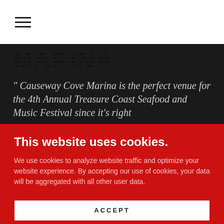☰ (hamburger menu icon)
MARINA
" Causeway Cove Marina is the perfect venue for the 4th Annual Treasure Coast Seafood and Music Festival since it's right
This website uses cookies.
We use cookies to analyze website traffic and optimize your website experience. By accepting our use of cookies, your data will be aggregated with all other user data.
ACCEPT